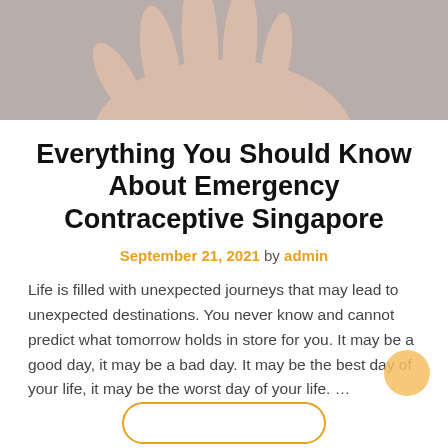[Figure (photo): Hand held open with palm up against a grey background, cropped at the top of the page]
Everything You Should Know About Emergency Contraceptive Singapore
September 21, 2021 by admin
Life is filled with unexpected journeys that may lead to unexpected destinations. You never know and cannot predict what tomorrow holds in store for you. It may be a good day, it may be a bad day. It may be the best day of your life, it may be the worst day of your life. …